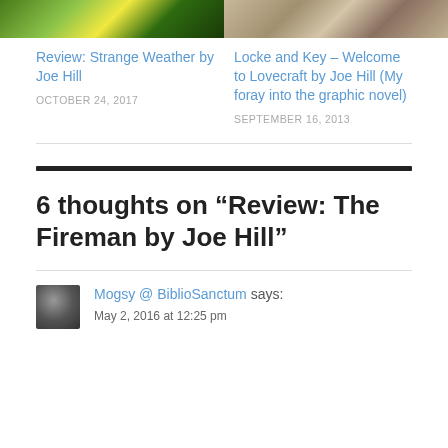[Figure (photo): Two cropped book cover images side by side at the top of the page]
Review: Strange Weather by Joe Hill
OCTOBER 24, 2017
Locke and Key – Welcome to Lovecraft by Joe Hill (My foray into the graphic novel)
SEPTEMBER 16, 2013
6 thoughts on “Review: The Fireman by Joe Hill”
Mogsy @ BiblioSanctum says:
May 2, 2016 at 12:25 pm